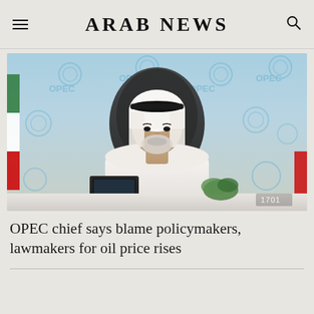ARAB NEWS
[Figure (photo): An OPEC official, wearing white traditional Gulf attire and a black headband, seated at a desk in front of an OPEC logo backdrop, with a laptop and greenery visible. A Kuwait or similar flag is partially visible on the left. A watermark '1701' appears in the lower right.]
OPEC chief says blame policymakers, lawmakers for oil price rises